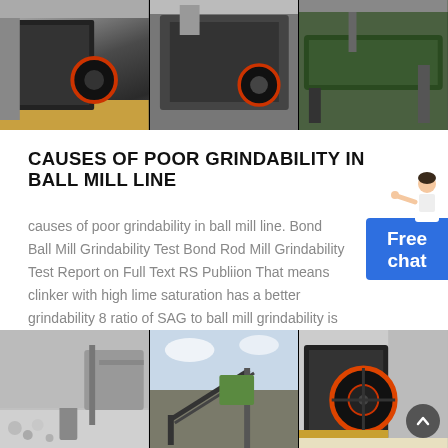[Figure (photo): Three industrial machinery photos at the top: jaw crusher on left, impact crusher/hammer mill in center, green industrial conveyor or vibrating screen on right]
CAUSES OF POOR GRINDABILITY IN BALL MILL LINE
causes of poor grindability in ball mill line. Bond Ball Mill Grindability Test Bond Rod Mill Grindability Test Report on Full Text RS Publiion That means clinker with high lime saturation has a better grindability 8 ratio of SAG to ball mill grindability is an important factor in achieving a reliable The influence of mineralogical chemical and physical. .
[Figure (photo): Three industrial machinery photos at bottom: ball mill interior on left, outdoor mining site in center, jaw crusher with orange flywheel on right. Scroll-up button visible bottom right.]